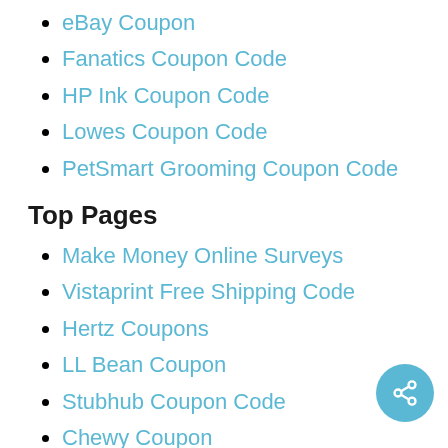eBay Coupon
Fanatics Coupon Code
HP Ink Coupon Code
Lowes Coupon Code
PetSmart Grooming Coupon Code
Top Pages
Make Money Online Surveys
Vistaprint Free Shipping Code
Hertz Coupons
LL Bean Coupon
Stubhub Coupon Code
Chewy Coupon
FSA Store Coupon
Google Play Card
Zenni Optical Promo
Overstock Coupon Code